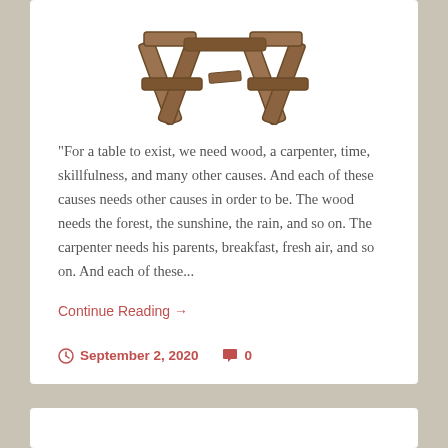[Figure (photo): A wooden sawhorse or trestle table legs structure, photographed from above on white background]
"For a table to exist, we need wood, a carpenter, time, skillfulness, and many other causes. And each of these causes needs other causes in order to be. The wood needs the forest, the sunshine, the rain, and so on. The carpenter needs his parents, breakfast, fresh air, and so on. And each of these...
Continue Reading →
September 2, 2020   0
Be Yourself